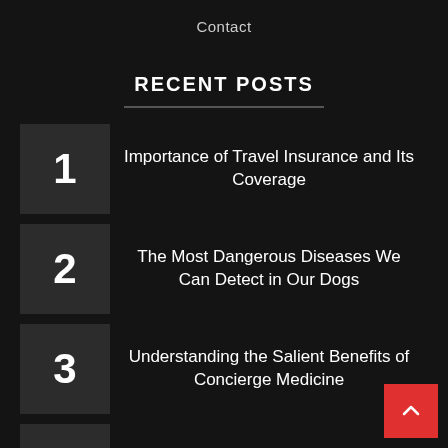Contact
RECENT POSTS
1 Importance of Travel Insurance and Its Coverage
2 The Most Dangerous Diseases We Can Detect in Our Dogs
3 Understanding the Salient Benefits of Concierge Medicine
4 How Flowers and Plants Make Home Better